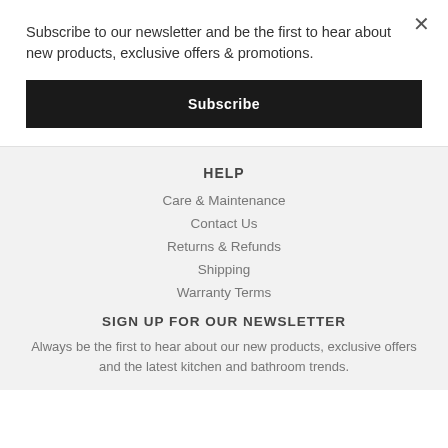Subscribe to our newsletter and be the first to hear about new products, exclusive offers & promotions.
Subscribe
HELP
Care & Maintenance
Contact Us
Returns & Refunds
Shipping
Warranty Terms
SIGN UP FOR OUR NEWSLETTER
Always be the first to hear about our new products, exclusive offers and the latest kitchen and bathroom trends.